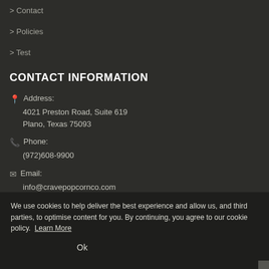> Contact
> Policies
> Test
CONTACT INFORMATION
Address: 4021 Preston Road, Suite 619 Plano, Texas 75093
Phone: (972)608-9900
Email: info@cravepopcornco.com
We use cookies to help deliver the best experience and allow us, and third parties, to optimise content for you. By continuing, you agree to our cookie policy. Learn More
Ok